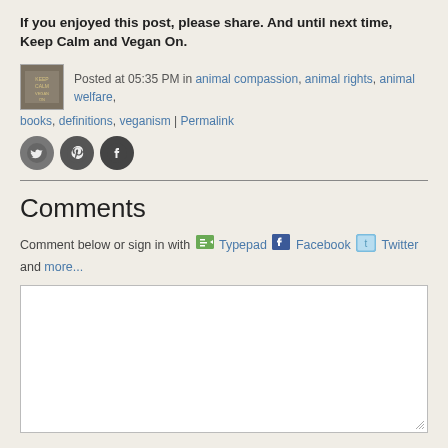If you enjoyed this post, please share. And until next time, Keep Calm and Vegan On.
Posted at 05:35 PM in animal compassion, animal rights, animal welfare, books, definitions, veganism | Permalink
[Figure (illustration): Social sharing icons: Twitter bird, Pinterest, Facebook]
Comments
Comment below or sign in with Typepad Facebook Twitter and more...